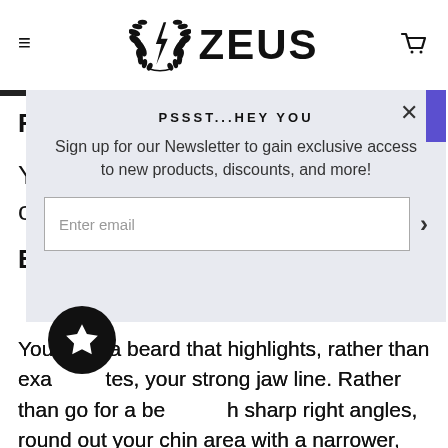ZEUS
[Figure (logo): Zeus logo with laurel wreath and lightning bolt icon beside the text ZEUS]
[Figure (screenshot): Modal popup with title PSSST...HEY YOU, newsletter signup text, and email input field with arrow button]
You want a beard that highlights, rather than exaggerates, your strong jaw line. Rather than go for a beard with sharp right angles, round out your chin area with a narrower, softer beard like the circle beard, which accentuates your jaw while lengthening your chin. You